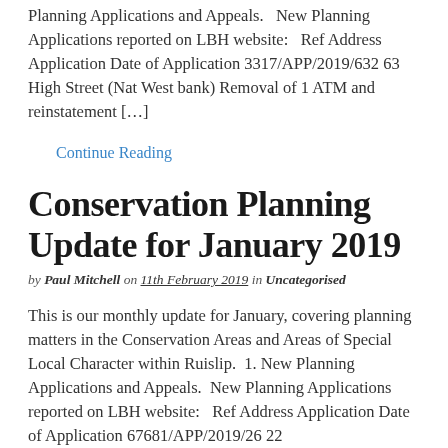Planning Applications and Appeals.   New Planning Applications reported on LBH website:   Ref Address Application Date of Application 3317/APP/2019/632 63 High Street (Nat West bank) Removal of 1 ATM and reinstatement […]
Continue Reading
Conservation Planning Update for January 2019
by Paul Mitchell on 11th February 2019 in Uncategorised
This is our monthly update for January, covering planning matters in the Conservation Areas and Areas of Special Local Character within Ruislip.  1. New Planning Applications and Appeals.  New Planning Applications reported on LBH website:   Ref Address Application Date of Application 67681/APP/2019/26 22